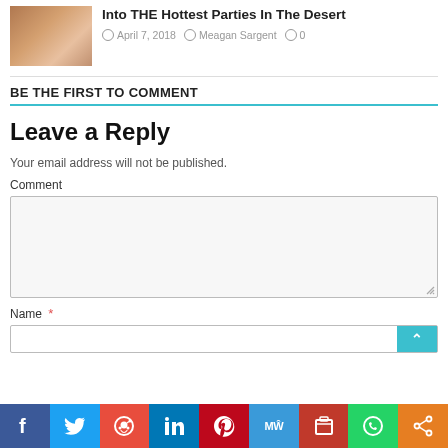Into THE Hottest Parties In The Desert
April 7, 2018  Meagan Sargent  0
BE THE FIRST TO COMMENT
Leave a Reply
Your email address will not be published.
Comment
Name *